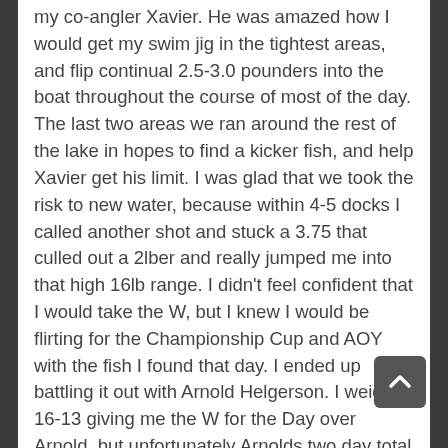my co-angler Xavier. He was amazed how I would get my swim jig in the tightest areas, and flip continual 2.5-3.0 pounders into the boat throughout the course of most of the day. The last two areas we ran around the rest of the lake in hopes to find a kicker fish, and help Xavier get his limit. I was glad that we took the risk to new water, because within 4-5 docks I called another shot and stuck a 3.75 that culled out a 2lber and really jumped me into that high 16lb range. I didn't feel confident that I would take the W, but I knew I would be flirting for the Championship Cup and AOY with the fish I found that day. I ended up battling it out with Arnold Helgerson. I weighed 16-13 giving me the W for the Day over Arnold, but unfortunately Arnolds two day total beat me by .33 ounces, which crowned him the 2-Day Championship winner. Overall with my